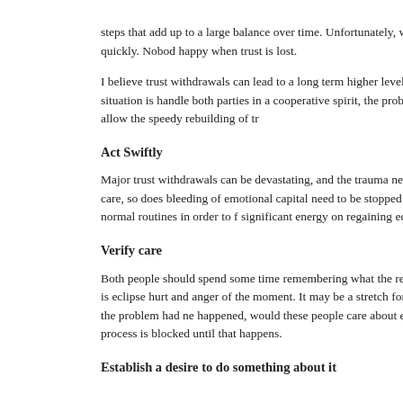deposits are made
steps that add up to a large balance over time. Unfortunately, withdrawals can be made to what I call “The Ratchet Effect.” All prior trust may be wiped out quickly. Nobody is happy when trust is lost.
I believe trust withdrawals can lead to a long term higher level of trust if they are handled well. Just as in a marriage when there is a major falling out, if the situation is handled by both parties in a cooperative spirit, the problem can lead to an even stronger relationship in the long term. Let’s investigate some steps that can allow the speedy rebuilding of tr…
Act Swiftly
Major trust withdrawals can be devastating, and the trauma needs to be treated as quickly as possible. Just as a severe bodily injury requires immediate emergency care, so does the bleeding of emotional capital need to be stopped after a major letdown. The situation is not going to heal by itself, so both parties need to set aside normal routines in order to focus significant energy on regaining equilibrium.
Verify care
Both people should spend some time remembering what the relationship felt like before the problem. In most cases there is a true caring for the other person, even if it is eclipsed by the hurt and anger of the moment. It may be a stretch for some people to mentally set aside the issue, but it would be helpful to do that, if just as an exercise. If the problem had never happened, would these people care about each other? If one person cannot recognize the potential for future care, then the remedial process is blocked until that happens.
Establish a desire to do something about it